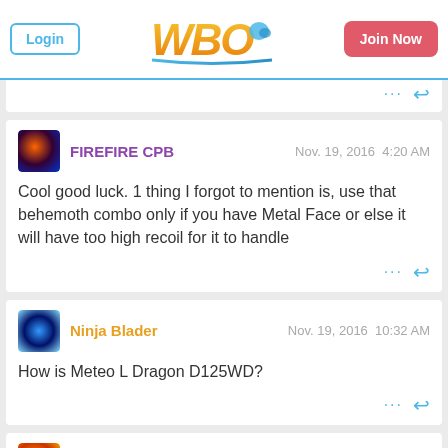Login | WBO | Join Now
Cool good luck. 1 thing I forgot to mention is, use that behemoth combo only if you have Metal Face or else it will have too high recoil for it to handle
FIREFIRE CPB  Nov. 19, 2016  4:20 AM
How is Meteo L Dragon D125WD?
Ninja Blader  Nov. 19, 2016  10:32 AM
Edmond  Nov. 21, 2016  3:27 AM